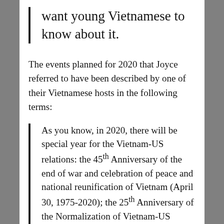want young Vietnamese to know about it.
The events planned for 2020 that Joyce referred to have been described by one of their Vietnamese hosts in the following terms:
As you know, in 2020, there will be special year for the Vietnam-US relations: the 45th Anniversary of the end of war and celebration of peace and national reunification of Vietnam (April 30, 1975-2020); the 25th Anniversary of the Normalization of Vietnam-US diplomatic...